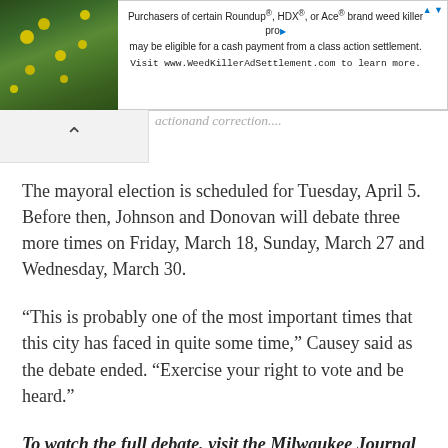[Figure (other): Advertisement banner: photo of yellow flowers on rocks on left, text about Roundup/HDX/Ace brand weed killer class action settlement on right, with link to WeedKillerAdSettlement.com]
...actionand correction....
The mayoral election is scheduled for Tuesday, April 5. Before then, Johnson and Donovan will debate three more times on Friday, March 18, Sunday, March 27 and Wednesday, March 30.
“This is probably one of the most important times that this city has faced in quite some time,” Causey said as the debate ended. “Exercise your right to vote and be heard.”
To watch the full debate, visit the Milwaukee Journal Sentinel Facebook page at www.facebook.com/journalsentinel. F...